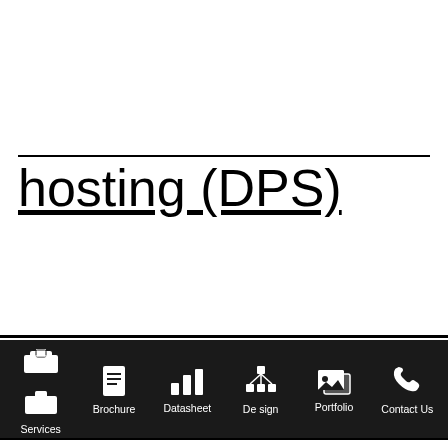hosting (DPS)
[Figure (other): Navigation bar with icons: Services (briefcase icon), Brochure (document icon), Datasheet (bar chart icon), Design (network diagram icon), Portfolio (image gallery icon), Contact Us (phone icon). Dark background with white icons and labels.]
Dedicated Server Web hosting (DPS) Step up